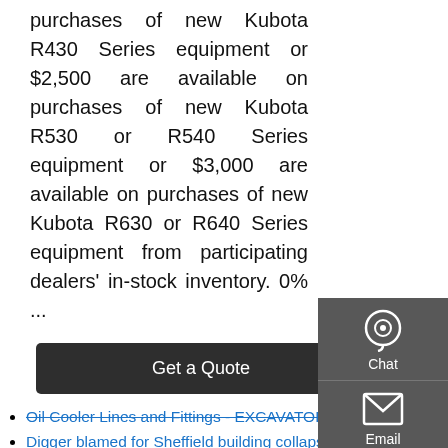purchases of new Kubota R430 Series equipment or $2,500 are available on purchases of new Kubota R530 or R540 Series equipment or $3,000 are available on purchases of new Kubota R630 or R640 Series equipment from participating dealers' in-stock inventory. 0% ...
[Figure (other): Dark grey 'Get a Quote' button]
Oil Cooler Lines and Fittings - EXCAVATOR John Deere 35D
Digger blamed for Sheffield building collapse
Dingo Mini Loader - Conplant
Backhoe Loaders Market 2021 Size with Covid 19 Impact
YANMAR B50-P B50-PC Mini Excavator Air Filter Filters
Air Conditioner Controller for Hitachi Excavator ZX200-3
Master Of His Craft - Beer Bottle Excavator Trick
used bucket for loader backhoe
Komatsu Handy Wheel Loaders WA100M-8
Caterpillar 335C Wide Screen Trackhoe Hydraulic E...